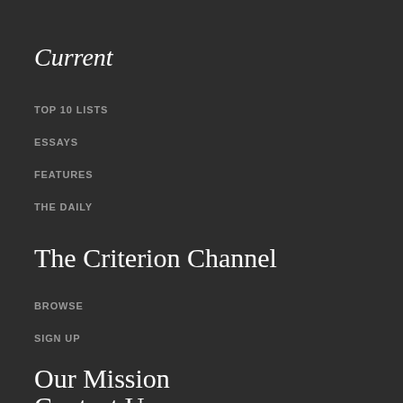Current
TOP 10 LISTS
ESSAYS
FEATURES
THE DAILY
The Criterion Channel
BROWSE
SIGN UP
Our Mission
Contact Us